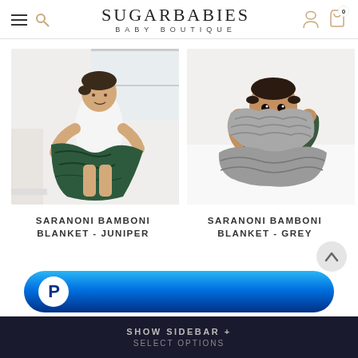SUGARBABIES BABY BOUTIQUE
[Figure (photo): Toddler smiling and holding a dark green knit blanket near a window]
[Figure (photo): Baby in green onesie chewing on a grey fluffy blanket]
SARANONI BAMBONI BLANKET - JUNIPER
SARANONI BAMBONI BLANKET - GREY
[Figure (other): PayPal payment button (blue rounded rectangle with PayPal P logo)]
SHOW SIDEBAR + SELECT OPTIONS